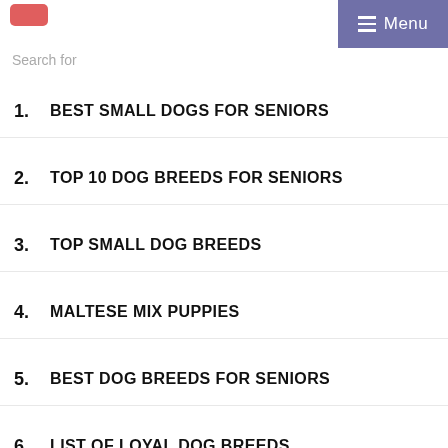Menu
Search for
1. BEST SMALL DOGS FOR SENIORS
2. TOP 10 DOG BREEDS FOR SENIORS
3. TOP SMALL DOG BREEDS
4. MALTESE MIX PUPPIES
5. BEST DOG BREEDS FOR SENIORS
6. LIST OF LOYAL DOG BREEDS